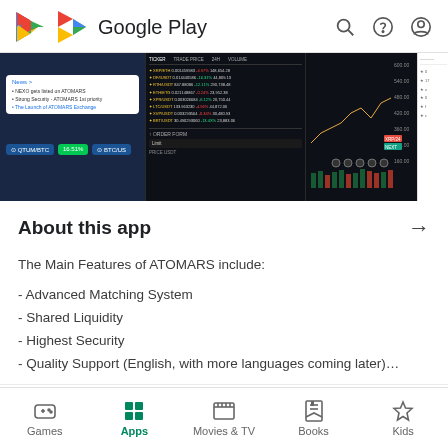Google Play
[Figure (screenshot): Three app screenshots showing the ATOMARS cryptocurrency exchange app: news feed screen, trading pairs list with prices, and a candlestick chart view. A fourth partial screenshot shows a ratings breakdown.]
About this app
The Main Features of ATOMARS include:
- Advanced Matching System
- Shared Liquidity
- Highest Security
- Quality Support (English, with more languages coming later)…
Updated on
Games  Apps  Movies & TV  Books  Kids